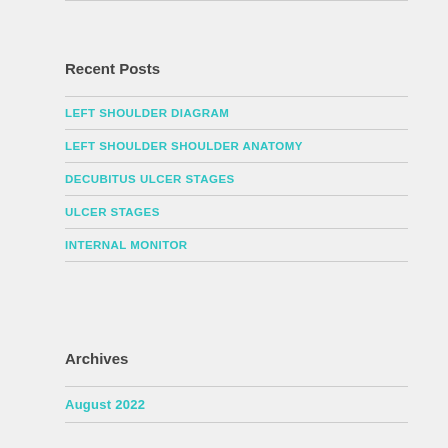Recent Posts
LEFT SHOULDER DIAGRAM
LEFT SHOULDER SHOULDER ANATOMY
DECUBITUS ULCER STAGES
ULCER STAGES
INTERNAL MONITOR
Archives
August 2022